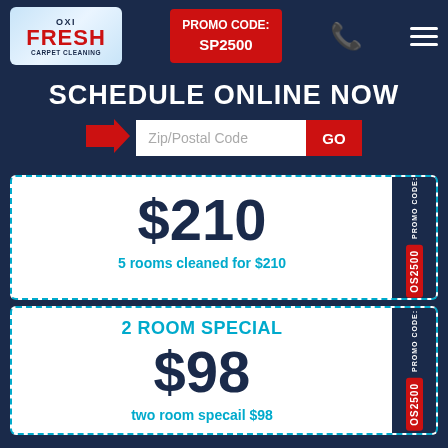[Figure (logo): Oxi Fresh Carpet Cleaning logo in blue/white box]
PROMO CODE: SP2500
SCHEDULE ONLINE NOW
Zip/Postal Code  GO
$210
5 rooms cleaned for $210
PROMO CODE: OS2500
2 ROOM SPECIAL
$98
two room specail $98
PROMO CODE: OS2500